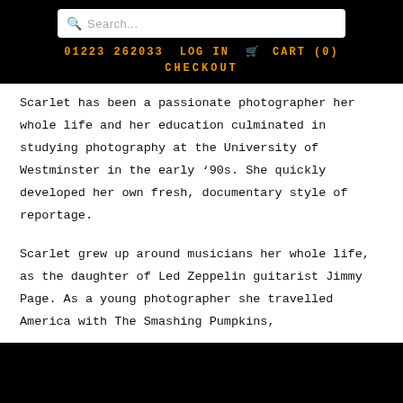Search... | 01223 262033 | LOG IN | CART (0) | CHECKOUT
Scarlet has been a passionate photographer her whole life and her education culminated in studying photography at the University of Westminster in the early ’90s. She quickly developed her own fresh, documentary style of reportage.
Scarlet grew up around musicians her whole life, as the daughter of Led Zeppelin guitarist Jimmy Page. As a young photographer she travelled America with The Smashing Pumpkins,